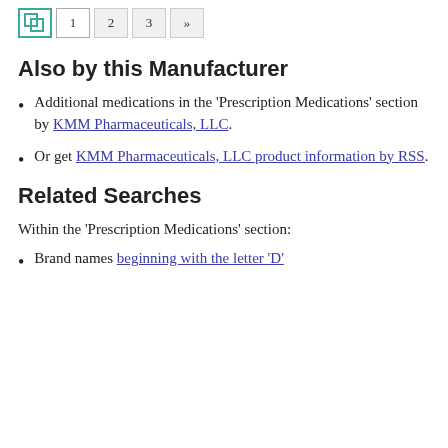Navigation: 1 2 3 »
Also by this Manufacturer
Additional medications in the 'Prescription Medications' section by KMM Pharmaceuticals, LLC.
Or get KMM Pharmaceuticals, LLC product information by RSS.
Related Searches
Within the 'Prescription Medications' section:
Brand names beginning with the letter 'D'